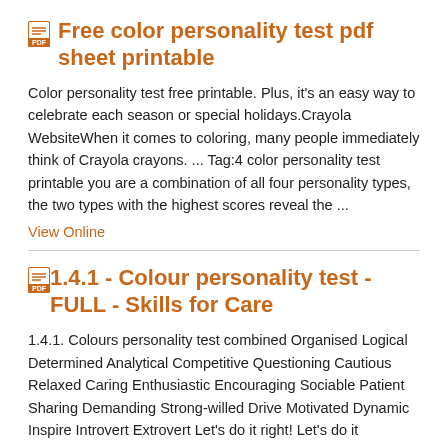Free color personality test pdf sheet printable
Color personality test free printable. Plus, it's an easy way to celebrate each season or special holidays.Crayola WebsiteWhen it comes to coloring, many people immediately think of Crayola crayons. ... Tag:4 color personality test printable you are a combination of all four personality types, the two types with the highest scores reveal the ...
View Online
1.4.1 - Colour personality test - FULL - Skills for Care
1.4.1. Colours personality test combined Organised Logical Determined Analytical Competitive Questioning Cautious Relaxed Caring Enthusiastic Encouraging Sociable Patient Sharing Demanding Strong-willed Drive Motivated Dynamic Inspire Introvert Extrovert Let's do it right! Let's do it